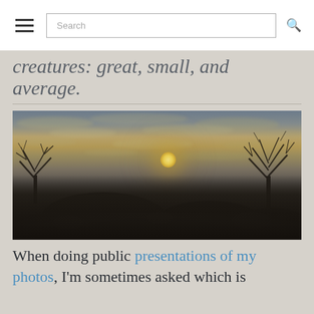[hamburger menu] [Search input] [search icon]
creatures: great, small, and average.
[Figure (photo): HDR landscape photograph of a misty sunrise or sunset over a rocky terrain with bare tree silhouettes on left and right sides, large boulders in the foreground, and a glowing sun partially obscured by textured clouds in the background.]
When doing public presentations of my photos, I'm sometimes asked which is